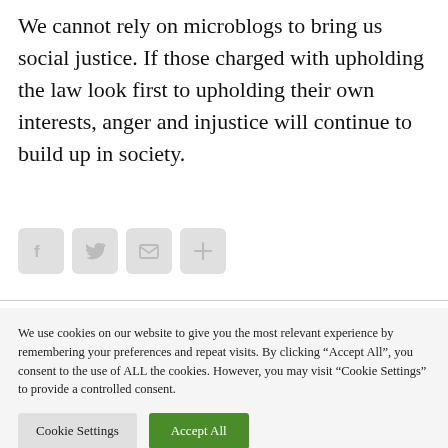We cannot rely on microblogs to bring us social justice. If those charged with upholding the law look first to upholding their own interests, anger and injustice will continue to build up in society.
[Figure (other): Social sharing icons: Facebook, Twitter, Email, and a plus/share button, displayed as light grey rounded square icon buttons.]
We use cookies on our website to give you the most relevant experience by remembering your preferences and repeat visits. By clicking "Accept All", you consent to the use of ALL the cookies. However, you may visit "Cookie Settings" to provide a controlled consent.